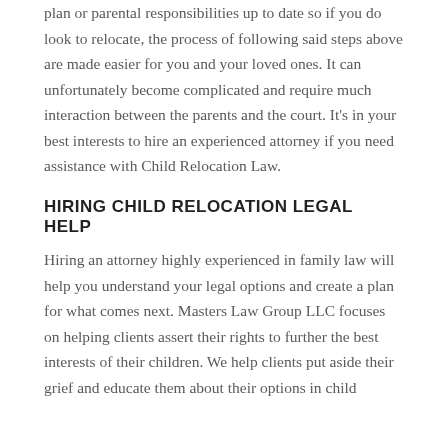plan or parental responsibilities up to date so if you do look to relocate, the process of following said steps above are made easier for you and your loved ones. It can unfortunately become complicated and require much interaction between the parents and the court. It's in your best interests to hire an experienced attorney if you need assistance with Child Relocation Law.
HIRING CHILD RELOCATION LEGAL HELP
Hiring an attorney highly experienced in family law will help you understand your legal options and create a plan for what comes next. Masters Law Group LLC focuses on helping clients assert their rights to further the best interests of their children. We help clients put aside their grief and educate them about their options in child